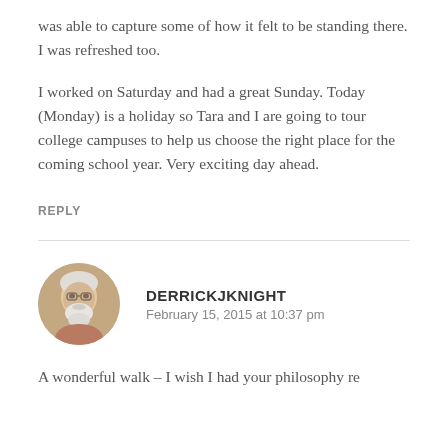was able to capture some of how it felt to be standing there. I was refreshed too.
I worked on Saturday and had a great Sunday. Today (Monday) is a holiday so Tara and I are going to tour college campuses to help us choose the right place for the coming school year. Very exciting day ahead.
REPLY
[Figure (photo): Circular avatar photo of an older man with white hair and beard, slightly smiling, wearing glasses.]
DERRICKJKNIGHT
February 15, 2015 at 10:37 pm
A wonderful walk – I wish I had your philosophy re